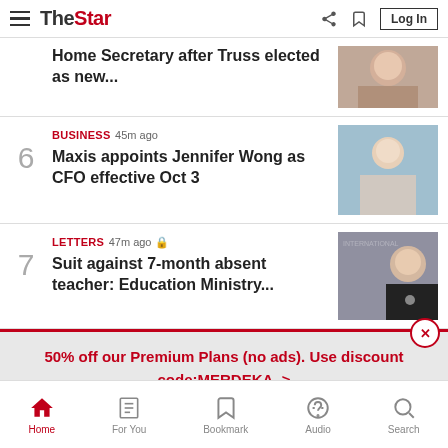The Star - Log In
Home Secretary after Truss elected as new...
6 — BUSINESS 45m ago — Maxis appoints Jennifer Wong as CFO effective Oct 3
7 — LETTERS 47m ago — Suit against 7-month absent teacher: Education Ministry...
50% off our Premium Plans (no ads). Use discount code:MERDEKA. >
Home | For You | Bookmark | Audio | Search